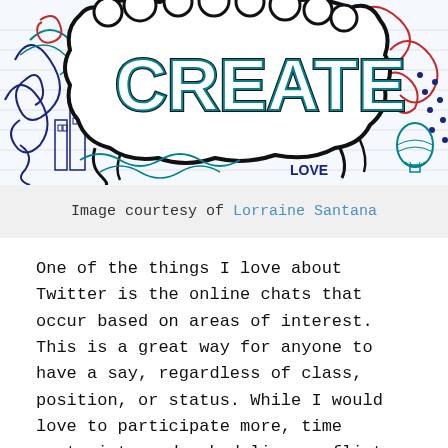[Figure (illustration): Colorful doodle art illustration with the word CREATE in large bold letters inside a cloud/bubble shape. Surrounding the text are intricate doodle patterns including swirls, waves, geometric shapes, buildings, a hot air balloon, and the word LOVE, drawn in blue, red, teal, and black ink on a white background.]
Image courtesy of Lorraine Santana
One of the things I love about Twitter is the online chats that occur based on areas of interest. This is a great way for anyone to have a say, regardless of class, position, or status. While I would love to participate more, time restraints and scheduling conflicts make it impossible for me to participate in the chats that I would love to take part in. As a result, I try to follow up by reading the tweets after